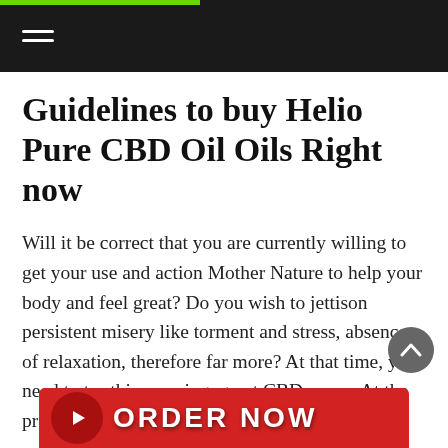Guidelines to buy Helio Pure CBD Oil Oils Right now
Will it be correct that you are currently willing to get your use and action Mother Nature to help your body and feel great? Do you wish to jettison persistent misery like torment and stress, absence of relaxation, therefore far more? At that time, you need to try this amazing, great CBD menu. At the present time, you may get this by simply clicking any image in this article.
[Figure (illustration): Red ORDER NOW banner button with arrow icon at the bottom of the page]